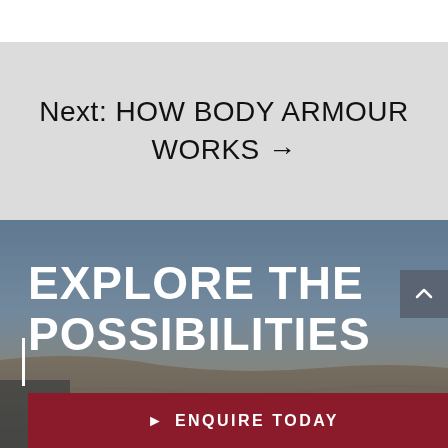Next: HOW BODY ARMOUR WORKS →
EXPLORE THE POSSIBILITIES
► ENQUIRE TODAY